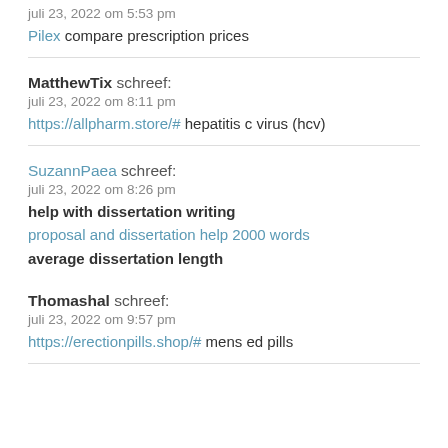juli 23, 2022 om 5:53 pm
Pilex compare prescription prices
MatthewTix schreef:
juli 23, 2022 om 8:11 pm
https://allpharm.store/# hepatitis c virus (hcv)
SuzannPaea schreef:
juli 23, 2022 om 8:26 pm
help with dissertation writing
proposal and dissertation help 2000 words
average dissertation length
Thomashal schreef:
juli 23, 2022 om 9:57 pm
https://erectionpills.shop/# mens ed pills